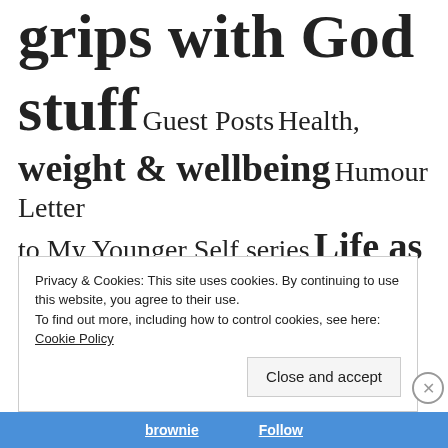grips with God stuff  Guest Posts  Health, weight & wellbeing  Humour  Letter to My Younger Self series  Life as a Pastor's Wife  Moving from Ireland to Wales  Music  My Cornea Transplant  Poetry  prayer  Random Ramblings  Silly Songs  social media  Spirit Radio  World Mental
Privacy & Cookies: This site uses cookies. By continuing to use this website, you agree to their use.
To find out more, including how to control cookies, see here:
Cookie Policy
Close and accept